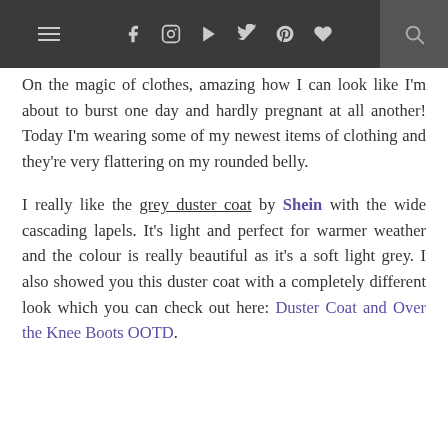≡  f  🎥  ▶  🐦  p  ♥  🔍
On the magic of clothes, amazing how I can look like I'm about to burst one day and hardly pregnant at all another! Today I'm wearing some of my newest items of clothing and they're very flattering on my rounded belly.

I really like the grey duster coat by Shein with the wide cascading lapels. It's light and perfect for warmer weather and the colour is really beautiful as it's a soft light grey. I also showed you this duster coat with a completely different look which you can check out here: Duster Coat and Over the Knee Boots OOTD.